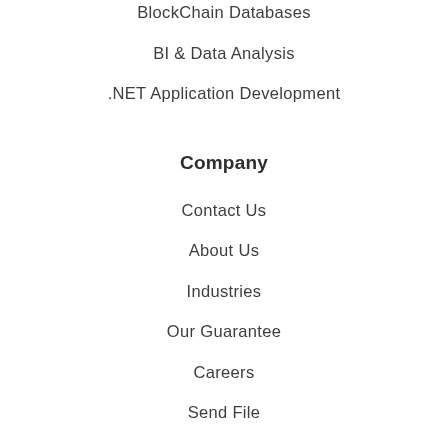BlockChain Databases
BI & Data Analysis
.NET Application Development
Company
Contact Us
About Us
Industries
Our Guarantee
Careers
Send File